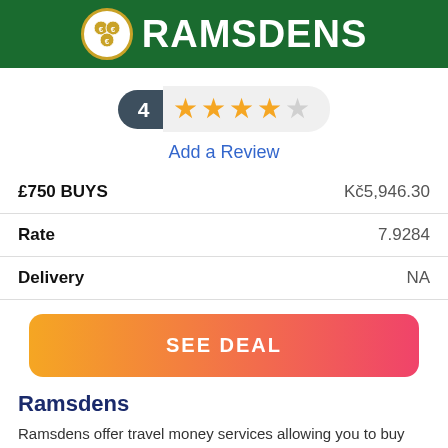[Figure (logo): Ramsdens logo on dark green background with circular coin emblem and white bold text RAMSDENS]
[Figure (other): Rating widget showing badge with number 4 and 4 filled stars out of 5 in a pill shape]
Add a Review
|  |  |
| --- | --- |
| £750 BUYS | Kč5,946.30 |
| Rate | 7.9284 |
| Delivery | NA |
[Figure (other): Orange to pink gradient button with white bold text SEE DEAL]
Ramsdens
Ramsdens offer travel money services allowing you to buy currency online then collect it in a local Ramsdens store. You can choose from up to 50